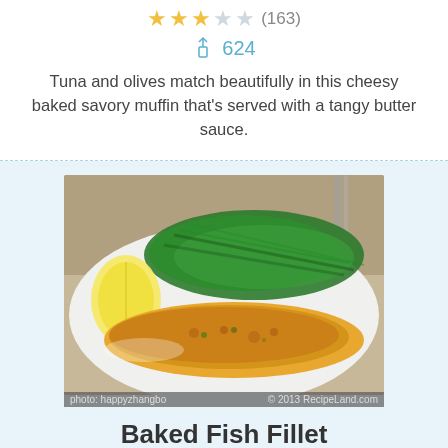★★★☆☆ (163)
624
Tuna and olives match beautifully in this cheesy baked savory muffin that's served with a tangy butter sauce.
[Figure (photo): Baked fish fillet on a white plate with green beans and a lemon wedge, with photo credit 'photo: happyzhangbo © 2013 RecipeLand.com']
photo: happyzhangbo © 2013 RecipeLand.com
Baked Fish Fillet
★★★★☆ (269)